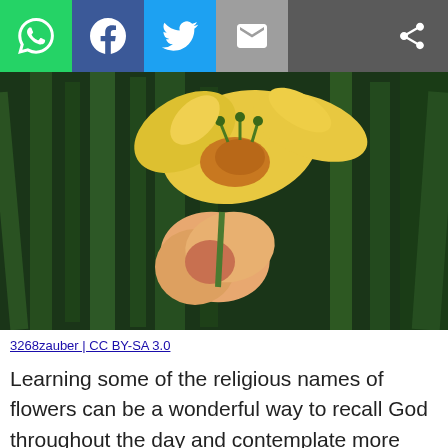[Figure (screenshot): Social media sharing toolbar with WhatsApp (green), Facebook (blue), Twitter (light blue), Email (grey) buttons on left, and share icon on right dark grey background]
[Figure (photo): Close-up photograph of yellow and orange gladiolus flowers with green foliage background. Attribution: 3268zauber CC BY-SA 3.0]
3268zauber | CC BY-SA 3.0
Learning some of the religious names of flowers can be a wonderful way to recall God throughout the day and contemplate more deeply His message of love and